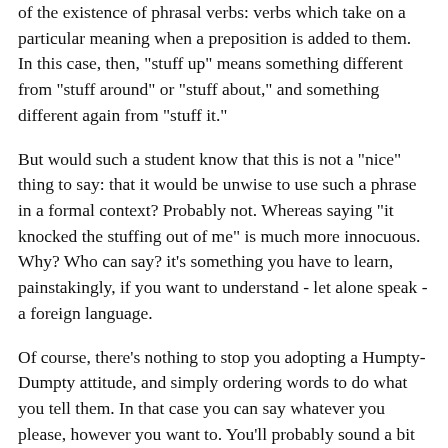of the existence of phrasal verbs: verbs which take on a particular meaning when a preposition is added to them. In this case, then, "stuff up" means something different from "stuff around" or "stuff about," and something different again from "stuff it."
But would such a student know that this is not a "nice" thing to say: that it would be unwise to use such a phrase in a formal context? Probably not. Whereas saying "it knocked the stuffing out of me" is much more innocuous. Why? Who can say? it's something you have to learn, painstakingly, if you want to understand - let alone speak - a foreign language.
Of course, there's nothing to stop you adopting a Humpty-Dumpty attitude, and simply ordering words to do what you tell them. In that case you can say whatever you please, however you want to. You'll probably sound a bit like that whether you want to or not when you first start to try to communicate in the new language you've been studying. Claiming that your Italian (or Chinese, or French) is every bit as valid as that of people who can function in that society, though, is pretty fatuous.